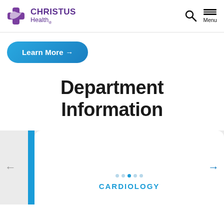[Figure (logo): CHRISTUS Health logo with purple cross icon and purple text]
Learn More →
Department Information
CARDIOLOGY